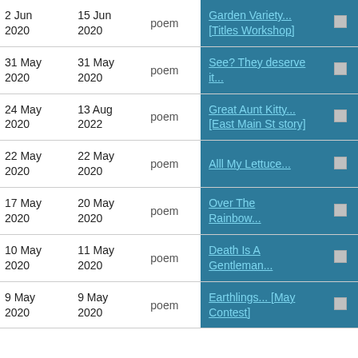| Created | Modified | Type | Title |  |
| --- | --- | --- | --- | --- |
| 2 Jun 2020 | 15 Jun 2020 | poem | Garden Variety... [Titles Workshop] | ☐ |
| 31 May 2020 | 31 May 2020 | poem | See? They deserve it... | ☐ |
| 24 May 2020 | 13 Aug 2022 | poem | Great Aunt Kitty... [East Main St story] | ☐ |
| 22 May 2020 | 22 May 2020 | poem | Alll My Lettuce... | ☐ |
| 17 May 2020 | 20 May 2020 | poem | Over The Rainbow... | ☐ |
| 10 May 2020 | 11 May 2020 | poem | Death Is A Gentleman... | ☐ |
| 9 May 2020 | 9 May 2020 | poem | Earthlings... [May Contest] | ☐ |